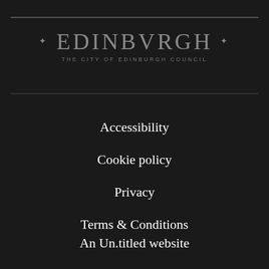[Figure (logo): Edinburgh - The City of Edinburgh Council logo with decorative dots, displayed in grey on dark background]
Accessibility
Cookie policy
Privacy
Terms & Conditions
An Un.titled website